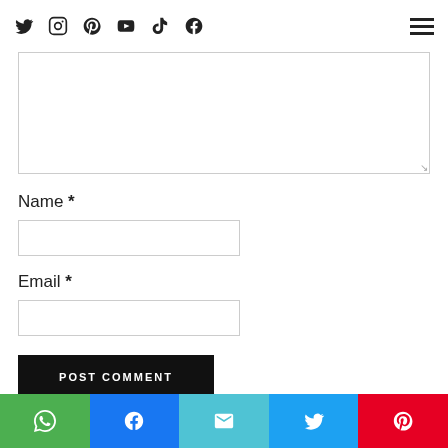Social media icons: Twitter, Instagram, Pinterest, YouTube, TikTok, Facebook; Hamburger menu
Comment textarea (empty)
Name *
Name input field
Email *
Email input field
POST COMMENT
[Figure (other): Share buttons row: WhatsApp (green), Facebook (blue), Email (teal), Twitter (blue), Pinterest (red)]